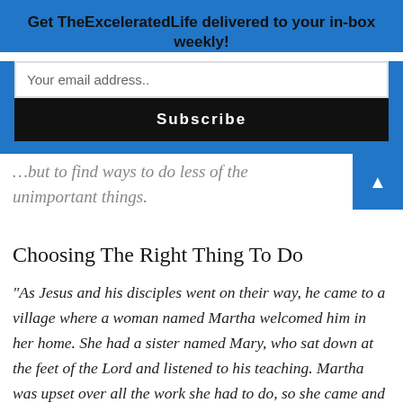Get TheExceleratedLife delivered to your in-box weekly!
Your email address..
Subscribe
…but to find ways to do less of the unimportant things.
Choosing The Right Thing To Do
“As Jesus and his disciples went on their way, he came to a village where a woman named Martha welcomed him in her home. She had a sister named Mary, who sat down at the feet of the Lord and listened to his teaching. Martha was upset over all the work she had to do, so she came and said, ‘Lord, don’t you care that